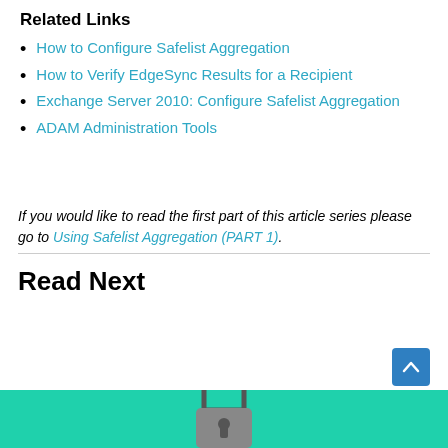Related Links
How to Configure Safelist Aggregation
How to Verify EdgeSync Results for a Recipient
Exchange Server 2010: Configure Safelist Aggregation
ADAM Administration Tools
If you would like to read the first part of this article series please go to Using Safelist Aggregation (PART 1).
Read Next